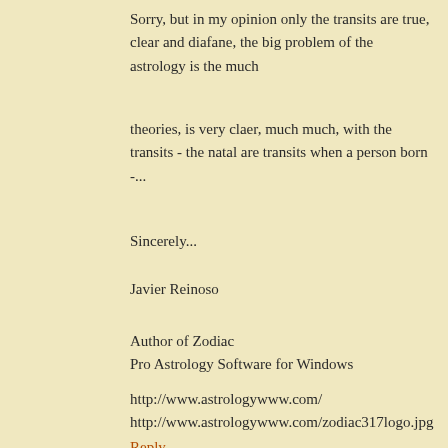Sorry, but in my opinion only the transits are true, clear and diafane, the big problem of the astrology is the much
theories, is very claer, much much, with the transits - the natal are transits when a person born -...
Sincerely...
Javier Reinoso
Author of Zodiac
Pro Astrology Software for Windows
http://www.astrologywww.com/
http://www.astrologywww.com/zodiac317logo.jpg
Reply
Javier Reinoso  May 1, 2008 at 10:12 AM
Sorry, I write: